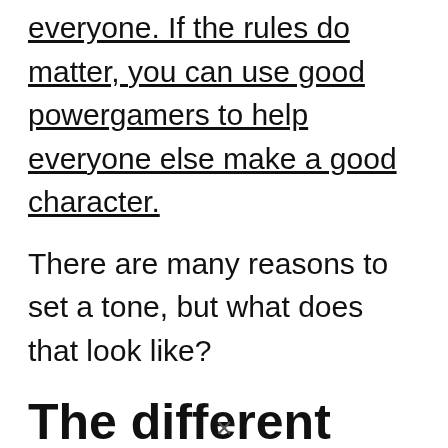everyone. If the rules do matter, you can use good powergamers to help everyone else make a good character.
There are many reasons to set a tone, but what does that look like?
The different tones
We talked about how there is silly